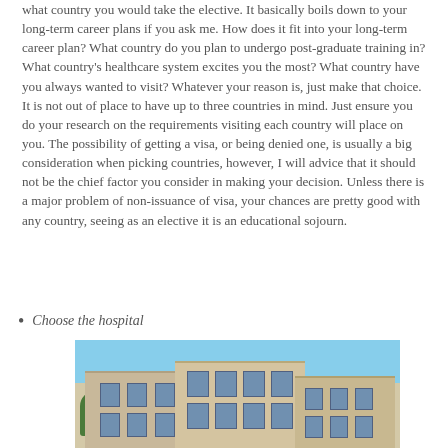what country you would take the elective. It basically boils down to your long-term career plans if you ask me. How does it fit into your long-term career plan? What country do you plan to undergo post-graduate training in? What country's healthcare system excites you the most? What country have you always wanted to visit? Whatever your reason is, just make that choice. It is not out of place to have up to three countries in mind. Just ensure you do your research on the requirements visiting each country will place on you. The possibility of getting a visa, or being denied one, is usually a big consideration when picking countries, however, I will advice that it should not be the chief factor you consider in making your decision. Unless there is a major problem of non-issuance of visa, your chances are pretty good with any country, seeing as an elective it is an educational sojourn.
Choose the hospital
[Figure (photo): Exterior photograph of a hospital building — a multi-story modern structure with beige/tan concrete facade and blue windows, under a blue sky with some trees visible.]